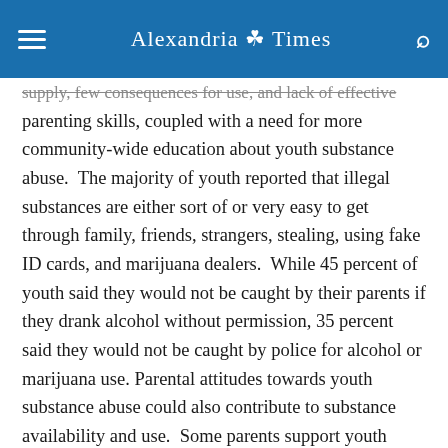Alexandria Times
supply, few consequences for use, and lack of effective parenting skills, coupled with a need for more community-wide education about youth substance abuse.  The majority of youth reported that illegal substances are either sort of or very easy to get through family, friends, strangers, stealing, using fake ID cards, and marijuana dealers.  While 45 percent of youth said they would not be caught by their parents if they drank alcohol without permission, 35 percent said they would not be caught by police for alcohol or marijuana use. Parental attitudes towards youth substance abuse could also contribute to substance availability and use.  Some parents support youth substance abuse by turning a blind eye or by viewing substance abuse as a part of normal development.  What is the silver lining here, you might ask?  The community is concerned and is asking for more resources to prevent youth s